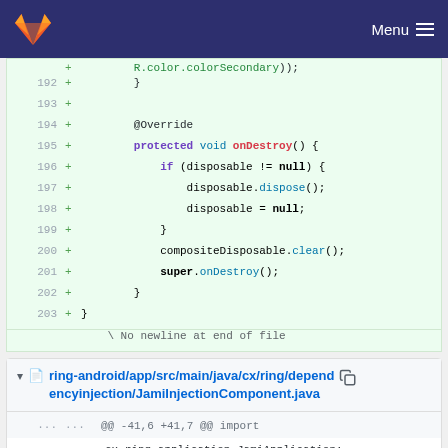Menu
[Figure (screenshot): GitLab code diff view showing lines 192-203 of a Java file with added lines (marked with +). Code shows onDestroy() method implementation with disposable and compositeDisposable handling.]
ring-android/app/src/main/java/cx/ring/dependencyinjection/JamiInjectionComponent.java
@@ -41,6 +41,7 @@ import cx.ring.application.JamiApplication;